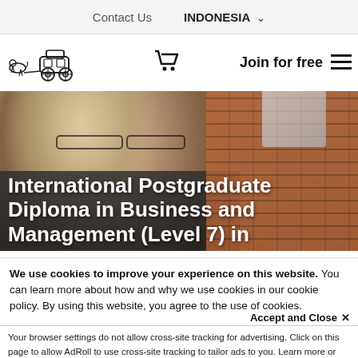Contact Us  INDONESIA ▾
[Figure (logo): Horse-drawn carriage logo image for an online education marketplace]
[Figure (other): Shopping cart icon]
Join for free
[Figure (photo): Woman with glasses and long blonde hair wearing a dark jacket, sitting in front of a brick wall background]
International Postgraduate Diploma in Business and Management (Level 7) in
Lampung 2022
We use cookies to improve your experience on this website. You can learn more about how and why we use cookies in our cookie policy. By using this website, you agree to the use of cookies.
Accept and Close ✕
Your browser settings do not allow cross-site tracking for advertising. Click on this page to allow AdRoll to use cross-site tracking to tailor ads to you. Learn more or opt out of this AdRoll tracking by clicking here. This message only appears once.